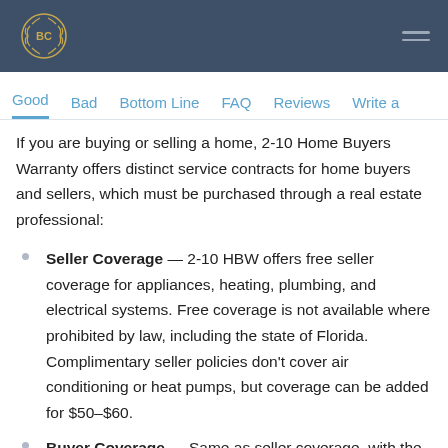BC [logo] — navigation header bar
Good | Bad | Bottom Line | FAQ | Reviews | Write a
If you are buying or selling a home, 2-10 Home Buyers Warranty offers distinct service contracts for home buyers and sellers, which must be purchased through a real estate professional:
Seller Coverage — 2-10 HBW offers free seller coverage for appliances, heating, plumbing, and electrical systems. Free coverage is not available where prohibited by law, including the state of Florida. Complimentary seller policies don't cover air conditioning or heat pumps, but coverage can be added for $50–$60.
Buyer Coverage — Same as seller coverage, with the basics, but it also includes the Happy Home Lock &